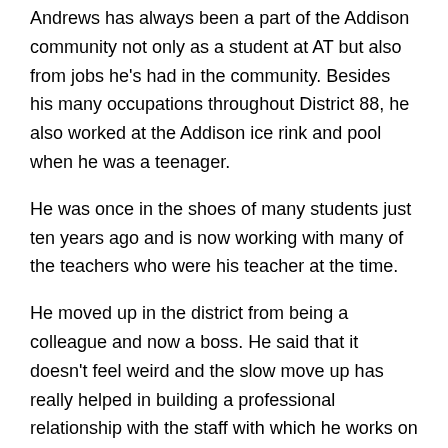Andrews has always been a part of the Addison community not only as a student at AT but also from jobs he’s had in the community. Besides his many occupations throughout District 88, he also worked at the Addison ice rink and pool when he was a teenager.
He was once in the shoes of many students just ten years ago and is now working with many of the teachers who were his teacher at the time.
He moved up in the district from being a colleague and now a boss. He said that it doesn’t feel weird and the slow move up has really helped in building a professional relationship with the staff with which he works on a daily basis.
He mentions that “staying connected” with the staff, students, and the community has been the biggest thing that has helped him get to where he is now.